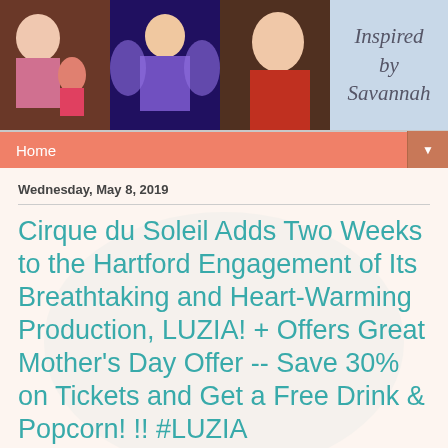[Figure (photo): Blog header banner with three photos of a young girl in various costumes (mermaid doll, fairy costume, red outfit) and the blog name 'Inspired by Savannah' on a light blue background]
Home ▼
Wednesday, May 8, 2019
Cirque du Soleil Adds Two Weeks to the Hartford Engagement of Its Breathtaking and Heart-Warming Production, LUZIA! + Offers Great Mother's Day Offer -- Save 30% on Tickets and Get a Free Drink & Popcorn! !! #LUZIA #cirquedusoleil
Disclosure: I was provided with complimentary tickets in